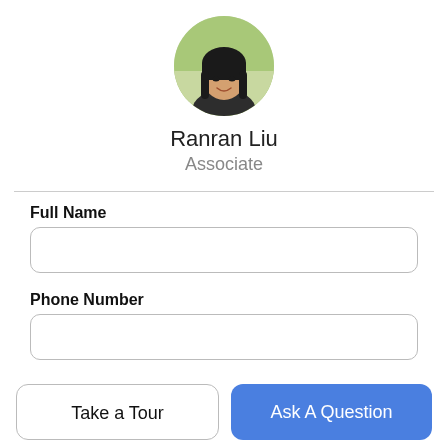[Figure (photo): Circular profile photo of a woman with dark hair, smiling, outdoors with green background]
Ranran Liu
Associate
Full Name
Phone Number
Email Address
Take a Tour
Ask A Question